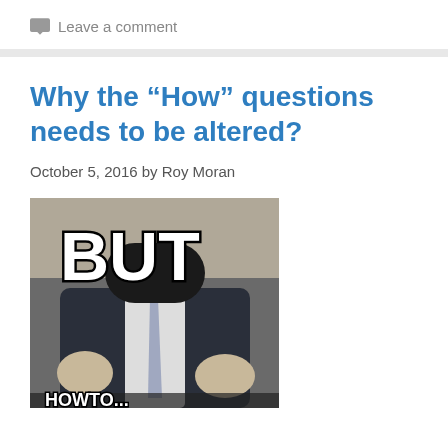Leave a comment
Why the “How” questions needs to be altered?
October 5, 2016 by Roy Moran
[Figure (photo): Internet meme image showing a man in a dark suit with large white bold text reading 'BUT' at the top and partially visible text at the bottom, person gesturing with both hands]